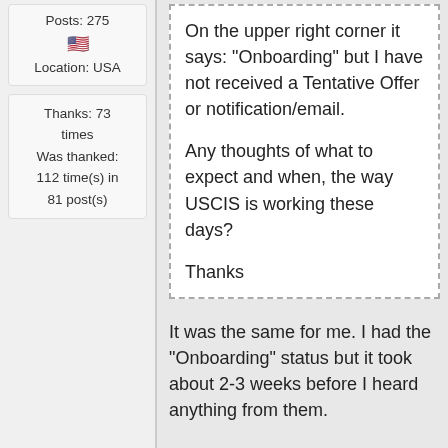Posts: 275
🇺🇸
Location: USA
Thanks: 73 times
Was thanked: 112 time(s) in 81 post(s)
On the upper right corner it says: "Onboarding" but I have not received a Tentative Offer or notification/email.

Any thoughts of what to expect and when, the way USCIS is working these days?

Thanks
It was the same for me. I had the "Onboarding" status but it took about 2-3 weeks before I heard anything from them.